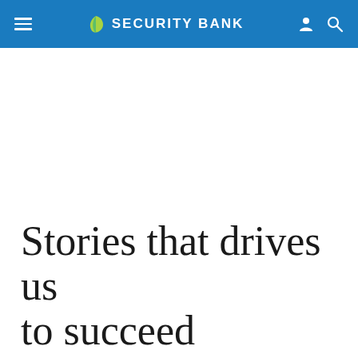SECURITY BANK
Stories that drives us to succeed